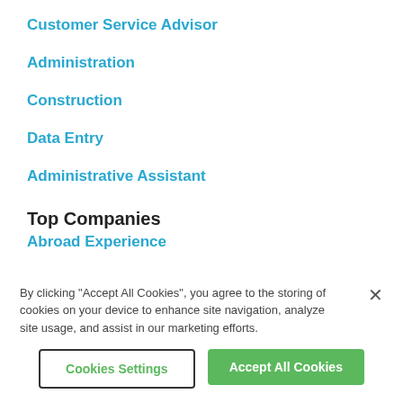Customer Service Advisor
Administration
Construction
Data Entry
Administrative Assistant
Top Companies
Abroad Experience
Multilingual Jobs Worldwide
By clicking "Accept All Cookies", you agree to the storing of cookies on your device to enhance site navigation, analyze site usage, and assist in our marketing efforts.
Cookies Settings
Accept All Cookies